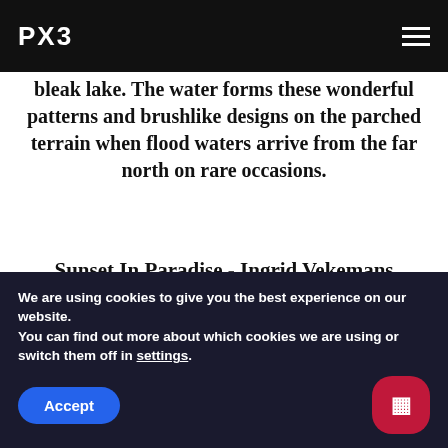PX3
bleak lake. The water forms these wonderful patterns and brushlike designs on the parched terrain when flood waters arrive from the far north on rare occasions.
Sunset In Paradise - Ingrid Vekemans
On the plains, gazelles, antelopes, and other animals congregate. It's referred to as "safety in numbers." The higher the number of animals, the better the
We are using cookies to give you the best experience on our website.
You can find out more about which cookies we are using or switch them off in settings.
Accept